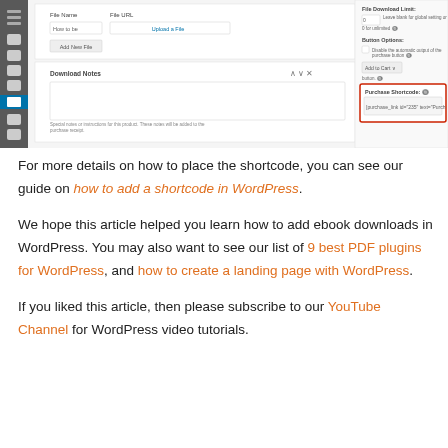[Figure (screenshot): Screenshot of a WordPress Easy Digital Downloads plugin interface showing Download Notes section, File Download Limit, Button Options, and Purchase Shortcode fields. The Purchase Shortcode section is highlighted with a red border showing '[purchase_link id="235" text="Purch...']'.]
For more details on how to place the shortcode, you can see our guide on how to add a shortcode in WordPress.
We hope this article helped you learn how to add ebook downloads in WordPress. You may also want to see our list of 9 best PDF plugins for WordPress, and how to create a landing page with WordPress.
If you liked this article, then please subscribe to our YouTube Channel for WordPress video tutorials.